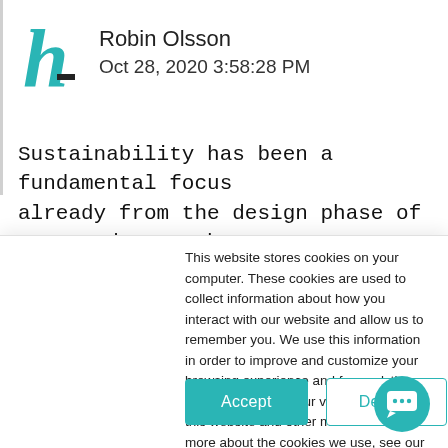[Figure (logo): Teal/turquoise lowercase letter h logo with a small horizontal bar at the bottom right]
Robin Olsson
Oct 28, 2020 3:58:28 PM
Sustainability has been a fundamental focus already from the design phase of our products. The hardware products are built to last 5-10+ years
This website stores cookies on your computer. These cookies are used to collect information about how you interact with our website and allow us to remember you. We use this information in order to improve and customize your browsing experience and for analytics and metrics about our visitors both on this website and other media. To find out more about the cookies we use, see our Privacy Policy.
If you decline, your information won't be tracked when you visit this website. A single cookie will be used in your browser to remember your preference not to be tracked.